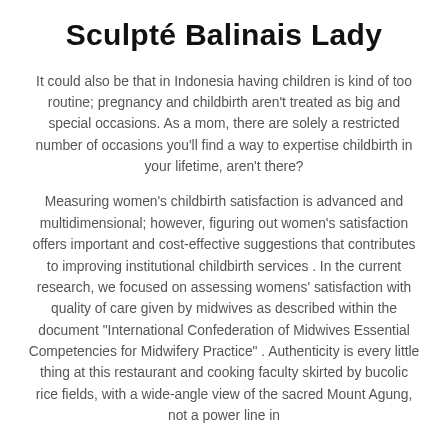Sculpté Balinais Lady
It could also be that in Indonesia having children is kind of too routine; pregnancy and childbirth aren't treated as big and special occasions. As a mom, there are solely a restricted number of occasions you'll find a way to expertise childbirth in your lifetime, aren't there?
Measuring women's childbirth satisfaction is advanced and multidimensional; however, figuring out women's satisfaction offers important and cost-effective suggestions that contributes to improving institutional childbirth services . In the current research, we focused on assessing womens' satisfaction with quality of care given by midwives as described within the document "International Confederation of Midwives Essential Competencies for Midwifery Practice" . Authenticity is every little thing at this restaurant and cooking faculty skirted by bucolic rice fields, with a wide-angle view of the sacred Mount Agung, not a power line in